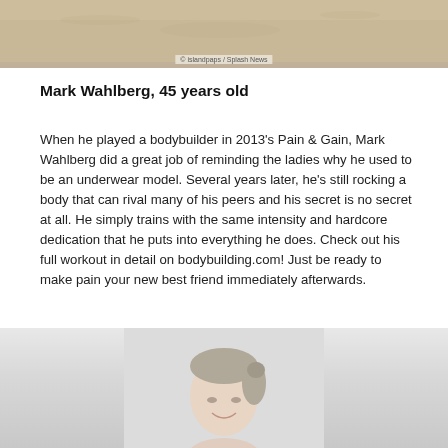[Figure (photo): Top portion of a beach/sand photo with a watermark reading '© islandpaps / Splash News']
Mark Wahlberg, 45 years old
When he played a bodybuilder in 2013's Pain & Gain, Mark Wahlberg did a great job of reminding the ladies why he used to be an underwear model. Several years later, he's still rocking a body that can rival many of his peers and his secret is no secret at all. He simply trains with the same intensity and hardcore dedication that he puts into everything he does. Check out his full workout in detail on bodybuilding.com! Just be ready to make pain your new best friend immediately afterwards.
[Figure (photo): Bottom portion of a photo showing a woman with light hair pulled back, smiling, against a light background]